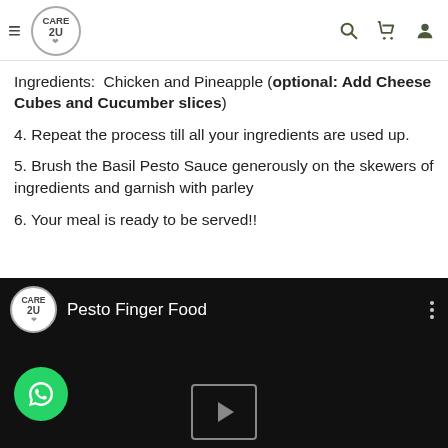CARE2U header with hamburger menu, logo, search, cart, and user icons
Ingredients:  Chicken and Pineapple (optional: Add Cheese Cubes and Cucumber slices)
4. Repeat the process till all your ingredients are used up.
5. Brush the Basil Pesto Sauce generously on the skewers of ingredients and garnish with parley
6. Your meal is ready to be served!!
[Figure (screenshot): Video thumbnail with dark background showing CARE2U logo, title 'Pesto Finger Food', WhatsApp button, and a play button]